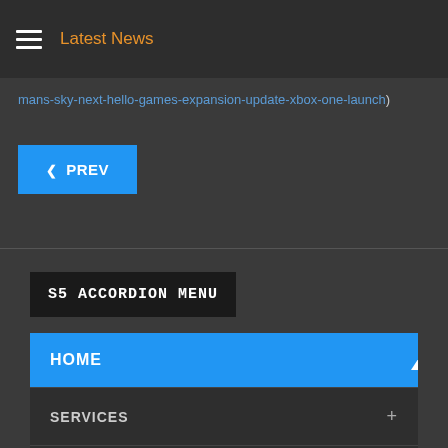Latest News
mans-sky-next-hello-games-expansion-update-xbox-one-launch)
‹ PREV
S5 ACCORDION MENU
HOME
SERVICES +
EXTENSIONS +
FEATURES